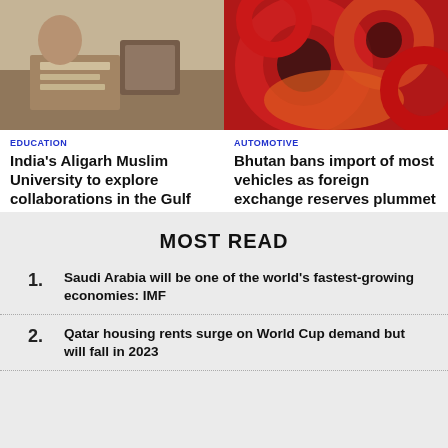[Figure (photo): Person reading at a desk with papers and a lamp, warm tones]
[Figure (photo): Close-up of colorful automotive parts, red and orange tones]
EDUCATION
India's Aligarh Muslim University to explore collaborations in the Gulf
AUTOMOTIVE
Bhutan bans import of most vehicles as foreign exchange reserves plummet
MOST READ
1. Saudi Arabia will be one of the world's fastest-growing economies: IMF
2. Qatar housing rents surge on World Cup demand but will fall in 2023